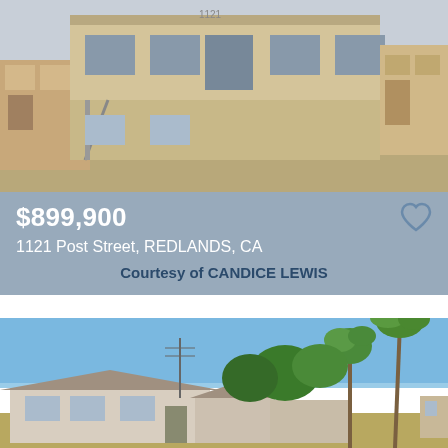[Figure (photo): Exterior photo of a two-story multi-unit apartment building with beige stucco exterior, metal staircase, dry dirt front yard, and adjacent single-family homes visible]
$899,900
1121 Post Street, REDLANDS, CA
Courtesy of CANDICE LEWIS
[Figure (photo): Exterior photo of a single-story ranch-style home with a large blue sky, palm trees and green trees in the background, white/tan stucco walls, and a brown roof]